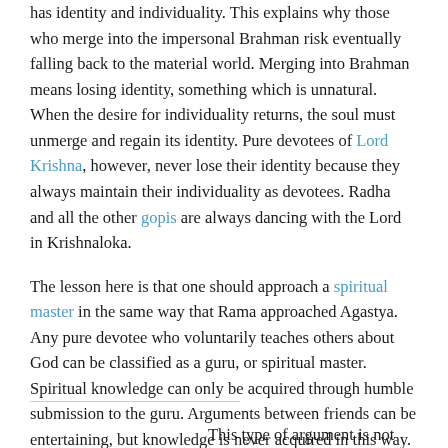has identity and individuality. This explains why those who merge into the impersonal Brahman risk eventually falling back to the material world. Merging into Brahman means losing identity, something which is unnatural. When the desire for individuality returns, the soul must unmerge and regain its identity. Pure devotees of Lord Krishna, however, never lose their identity because they always maintain their individuality as devotees. Radha and all the other gopis are always dancing with the Lord in Krishnaloka.
The lesson here is that one should approach a spiritual master in the same way that Rama approached Agastya. Any pure devotee who voluntarily teaches others about God can be classified as a guru, or spiritual master. Spiritual knowledge can only be acquired through humble submission to the guru. Arguments between friends can be entertaining, but knowledge is never acquired in this way. By the very nature of their relationship, friends view each others as equals. If one friend states an opinion, the other friend will often argue simply for the sake of conversation.
This type of argument is not